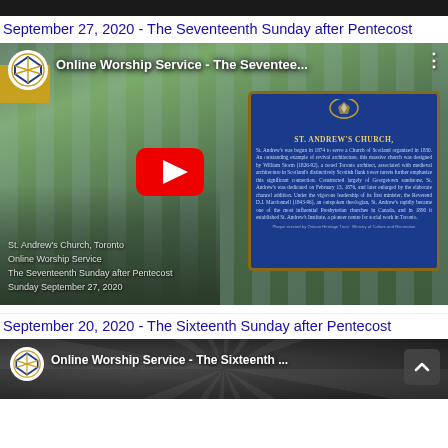September 27, 2020 - The Seventeenth Sunday after Pentecost
[Figure (screenshot): YouTube video thumbnail showing St. Andrew's Church Toronto with a blue historical plaque visible. The video thumbnail shows 'Online Worship Service - The Seventee...' with a red play button in the center. Bottom-left caption reads: St. Andrew's Church, Toronto / Online Worship Service / The Seventeenth Sunday after Pentecost / Sunday September 27, 2020]
September 20, 2020 - The Sixteenth Sunday after Pentecost
[Figure (screenshot): YouTube video thumbnail showing 'Online Worship Service - The Sixteenth ...' with a scroll-up arrow button on the right.]